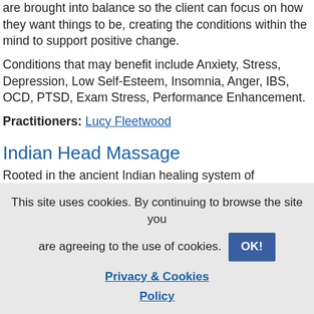are brought into balance so the client can focus on how they want things to be, creating the conditions within the mind to support positive change.
Conditions that may benefit include Anxiety, Stress, Depression, Low Self-Esteem, Insomnia, Anger, IBS, OCD, PTSD, Exam Stress, Performance Enhancement.
Practitioners: Lucy Fleetwood
Indian Head Massage
Rooted in the ancient Indian healing system of Ayurveda, Indian Head Massage works on the belief that ailments are caused by blockages in the energy flow around the body; massage helps clear blockages, returning the body to a
This site uses cookies. By continuing to browse the site you are agreeing to the use of cookies. OK! Privacy & Cookies Policy